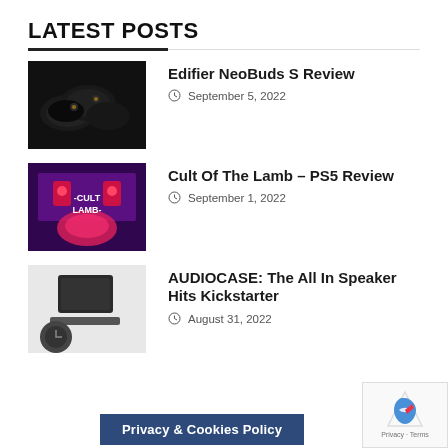LATEST POSTS
Edifier NeoBuds S Review — September 5, 2022
Cult Of The Lamb – PS5 Review — September 1, 2022
AUDIOCASE: The All In Speaker Hits Kickstarter — August 31, 2022
Privacy & Cookies Policy